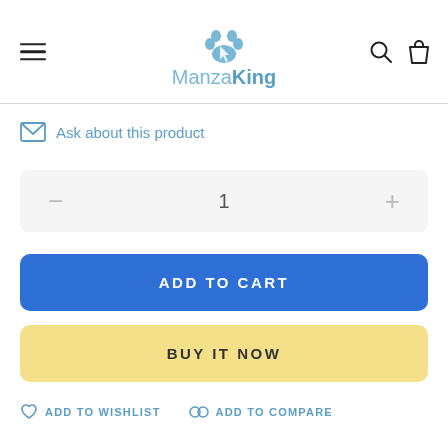[Figure (logo): ManzaKing logo with blue paw print icon above the text 'ManzaKing' in blue]
Ask about this product
1
ADD TO CART
BUY IT NOW
ADD TO WISHLIST
ADD TO COMPARE